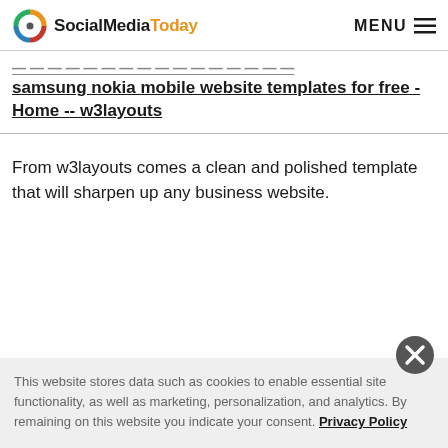SocialMediaToday MENU
samsung nokia mobile website templates for free - Home -- w3layouts
From w3layouts comes a clean and polished template that will sharpen up any business website.
This website stores data such as cookies to enable essential site functionality, as well as marketing, personalization, and analytics. By remaining on this website you indicate your consent. Privacy Policy